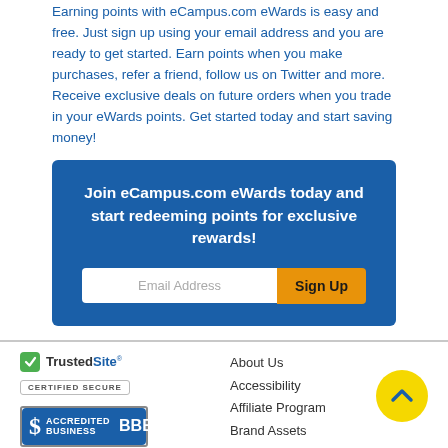Earning points with eCampus.com eWards is easy and free. Just sign up using your email address and you are ready to get started. Earn points when you make purchases, refer a friend, follow us on Twitter and more. Receive exclusive deals on future orders when you trade in your eWards points. Get started today and start saving money!
Join eCampus.com eWards today and start redeeming points for exclusive rewards!
[Figure (screenshot): Email address input field with Sign Up button on blue background]
[Figure (logo): TrustedSite Certified Secure badge]
[Figure (logo): BBB Accredited Business badge]
About Us
Accessibility
Affiliate Program
Brand Assets
Browse Categories
Bulk Orders
Gift Cards